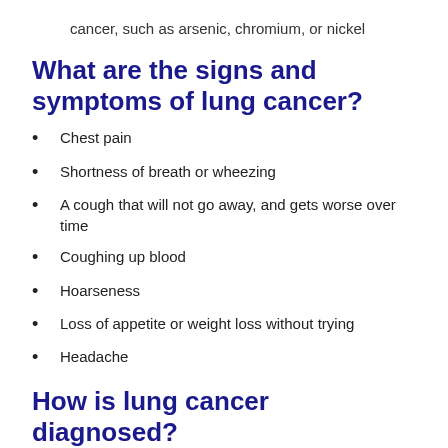cancer, such as arsenic, chromium, or nickel
What are the signs and symptoms of lung cancer?
Chest pain
Shortness of breath or wheezing
A cough that will not go away, and gets worse over time
Coughing up blood
Hoarseness
Loss of appetite or weight loss without trying
Headache
How is lung cancer diagnosed?
Your healthcare provider will ask about your symptoms and examine you. You may need any of the following:
Blood tests measure oxygen and blood gas levels and show